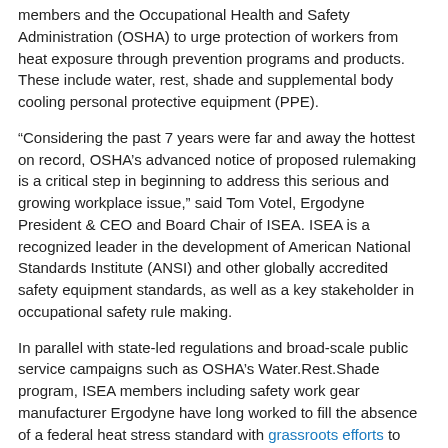members and the Occupational Health and Safety Administration (OSHA) to urge protection of workers from heat exposure through prevention programs and products. These include water, rest, shade and supplemental body cooling personal protective equipment (PPE).
“Considering the past 7 years were far and away the hottest on record, OSHA’s advanced notice of proposed rulemaking is a critical step in beginning to address this serious and growing workplace issue,” said Tom Votel, Ergodyne President & CEO and Board Chair of ISEA. ISEA is a recognized leader in the development of American National Standards Institute (ANSI) and other globally accredited safety equipment standards, as well as a key stakeholder in occupational safety rule making.
In parallel with state-led regulations and broad-scale public service campaigns such as OSHA’s Water.Rest.Shade program, ISEA members including safety work gear manufacturer Ergodyne have long worked to fill the absence of a federal heat stress standard with grassroots efforts to draw awareness, develop prevention programs and provide portable work shelters, hydration solutions and cooling PPE such as evaporative cooling vests, hats and towels for curbing heat-related illnesses and fatalities.